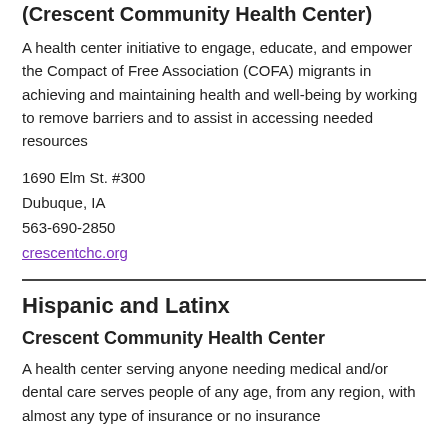(Crescent Community Health Center)
A health center initiative to engage, educate, and empower the Compact of Free Association (COFA) migrants in achieving and maintaining health and well-being by working to remove barriers and to assist in accessing needed resources
1690 Elm St. #300
Dubuque, IA
563-690-2850
crescentchc.org
Hispanic and Latinx
Crescent Community Health Center
A health center serving anyone needing medical and/or dental care serves people of any age, from any region, with almost any type of insurance or no insurance